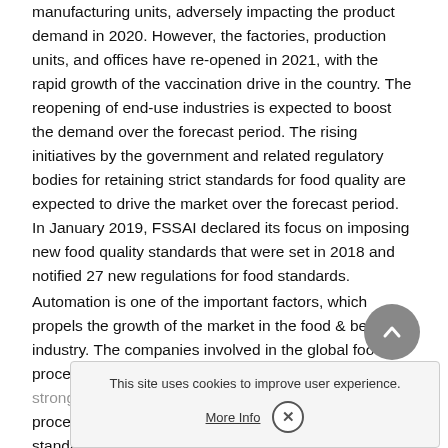manufacturing units, adversely impacting the product demand in 2020. However, the factories, production units, and offices have re-opened in 2021, with the rapid growth of the vaccination drive in the country. The reopening of end-use industries is expected to boost the demand over the forecast period. The rising initiatives by the government and related regulatory bodies for retaining strict standards for food quality are expected to drive the market over the forecast period. In January 2019, FSSAI declared its focus on imposing new food quality standards that were set in 2018 and notified 27 new regulations for food standards.
Automation is one of the important factors, which propels the growth of the market in the food & beverage industry. The companies involved in the global food processing equipment strengthen their position with strong R&D capabilities, which helps the advanced processing mechanisms and quality products as per standards. Market players are